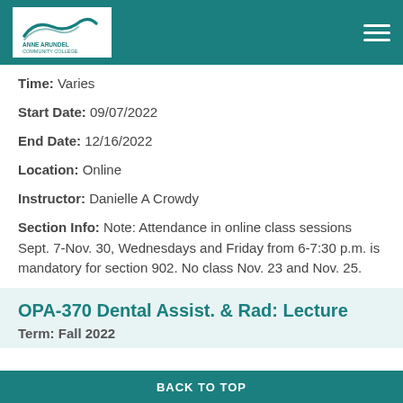Anne Arundel Community College
Time: Varies
Start Date: 09/07/2022
End Date: 12/16/2022
Location: Online
Instructor: Danielle A Crowdy
Section Info: Note: Attendance in online class sessions Sept. 7-Nov. 30, Wednesdays and Friday from 6-7:30 p.m. is mandatory for section 902. No class Nov. 23 and Nov. 25.
OPA-370 Dental Assist. & Rad: Lecture
Term: Fall 2022
BACK TO TOP